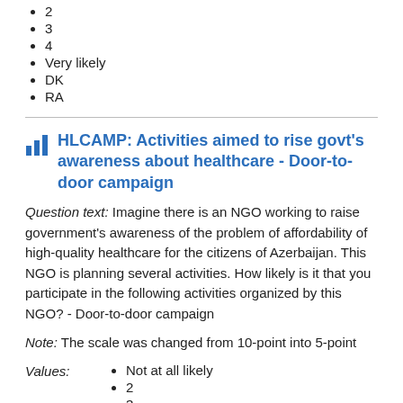2
3
4
Very likely
DK
RA
HLCAMP: Activities aimed to rise govt's awareness about healthcare - Door-to-door campaign
Question text: Imagine there is an NGO working to raise government's awareness of the problem of affordability of high-quality healthcare for the citizens of Azerbaijan. This NGO is planning several activities. How likely is it that you participate in the following activities organized by this NGO? - Door-to-door campaign
Note: The scale was changed from 10-point into 5-point
Values:
Not at all likely
2
3
4